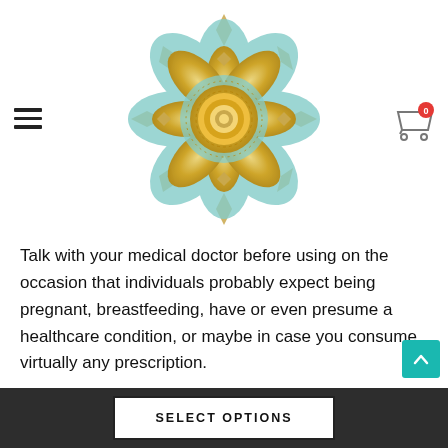[Figure (logo): Decorative mandala logo in teal/turquoise and gold colors, flower-like geometric pattern]
Talk with your medical doctor before using on the occasion that individuals probably expect being pregnant, breastfeeding, have or even presume a healthcare condition, or maybe in case you consume virtually any prescription.
SELECT OPTIONS